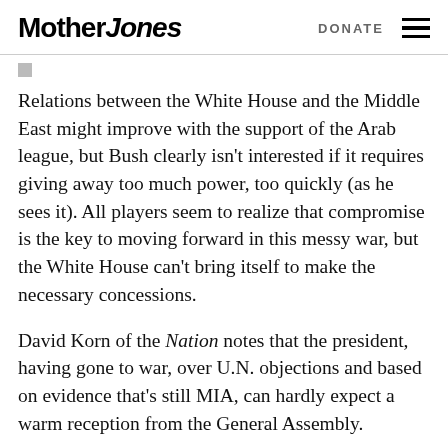Mother Jones   DONATE
Relations between the White House and the Middle East might improve with the support of the Arab league, but Bush clearly isn't interested if it requires giving away too much power, too quickly (as he sees it). All players seem to realize that compromise is the key to moving forward in this messy war, but the White House can't bring itself to make the necessary concessions.
David Korn of the Nation notes that the president, having gone to war, over U.N. objections and based on evidence that's still MIA, can hardly expect a warm reception from the General Assembly.